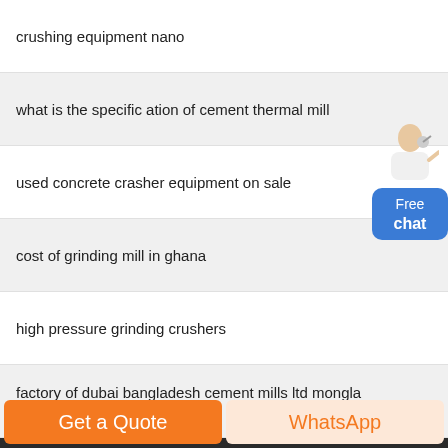crushing equipment nano
what is the specific ation of cement thermal mill
used concrete crasher equipment on sale
cost of grinding mill in ghana
high pressure grinding crushers
factory of dubai bangladesh cement mills ltd mongla bangladesh
Shanghai ZMINING Company © 2000-2021 Copyrights
Get a Quote
WhatsApp